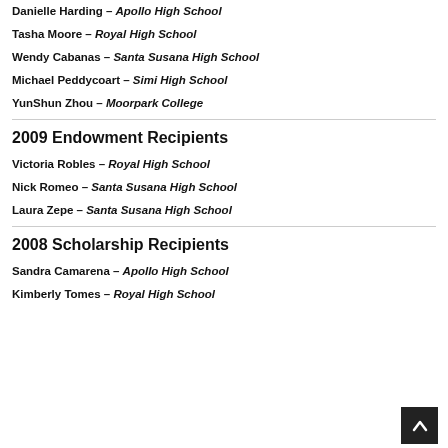Danielle Harding – Apollo High School
Tasha Moore – Royal High School
Wendy Cabanas – Santa Susana High School
Michael Peddycoart – Simi High School
YunShun Zhou – Moorpark College
2009 Endowment Recipients
Victoria Robles – Royal High School
Nick Romeo – Santa Susana High School
Laura Zepe – Santa Susana High School
2008 Scholarship Recipients
Sandra Camarena – Apollo High School
Kimberly Tomes – Royal High School